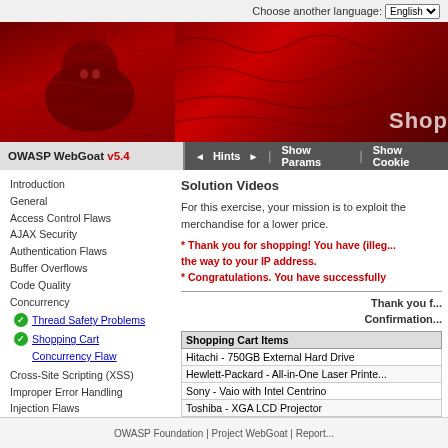Choose another language: English
[Figure (screenshot): OWASP WebGoat v5.4 red banner header with goat logo and navigation buttons: Hints, Show Params, Show Cookies]
Introduction
General
Access Control Flaws
AJAX Security
Authentication Flaws
Buffer Overflows
Code Quality
Concurrency
Thread Safety Problems (checked)
Shopping Cart Concurrency Flaw (checked)
Cross-Site Scripting (XSS)
Improper Error Handling
Injection Flaws
Denial of Service
Insecure Communication
Insecure Configuration
Insecure Storage
Malicious Execution
Parameter Tampering
Session Management Flaws
Web Services
Admin Functions
Challenge
Solution Videos
For this exercise, your mission is to exploit the merchandise for a lower price.
* Thank you for shopping! You have (illegally) modified the price of some merchandise on the way to your IP address.
* Congratulations. You have successfully completed this lesson.
Thank you for your order!
Confirmation Number:
| Shopping Cart Items |
| --- |
| Hitachi - 750GB External Hard Drive |
| Hewlett-Packard - All-in-One Laser Printer |
| Sony - Vaio with Intel Centrino |
| Toshiba - XGA LCD Projector |
Total Amount Charged to Your Credit Card:
Return
A PENCEREST
OWASP Foundation | Project WebGoat | Report